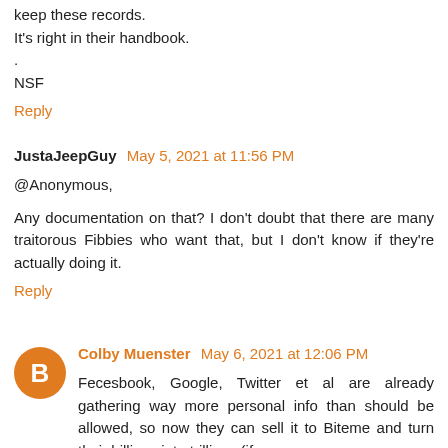keep these records.
It's right in their handbook.
.
NSF
Reply
JustaJeepGuy May 5, 2021 at 11:56 PM
@Anonymous,
Any documentation on that? I don't doubt that there are many traitorous Fibbies who want that, but I don't know if they're actually doing it.
Reply
Colby Muenster May 6, 2021 at 12:06 PM
Fecesbook, Google, Twitter et al are already gathering way more personal info than should be allowed, so now they can sell it to Biteme and turn their billions into trillions (if